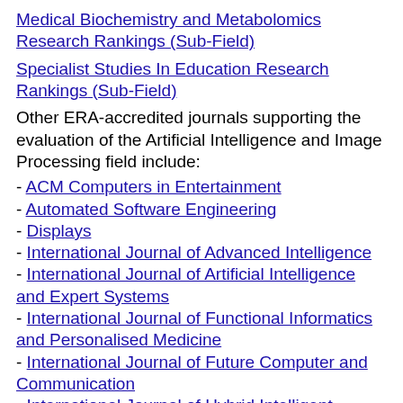Medical Biochemistry and Metabolomics Research Rankings (Sub-Field)
Specialist Studies In Education Research Rankings (Sub-Field)
Other ERA-accredited journals supporting the evaluation of the Artificial Intelligence and Image Processing field include:
- ACM Computers in Entertainment
- Automated Software Engineering
- Displays
- International Journal of Advanced Intelligence
- International Journal of Artificial Intelligence and Expert Systems
- International Journal of Functional Informatics and Personalised Medicine
- International Journal of Future Computer and Communication
- International Journal of Hybrid Intelligent Systems
- International Journal of Information and Systems Sci...